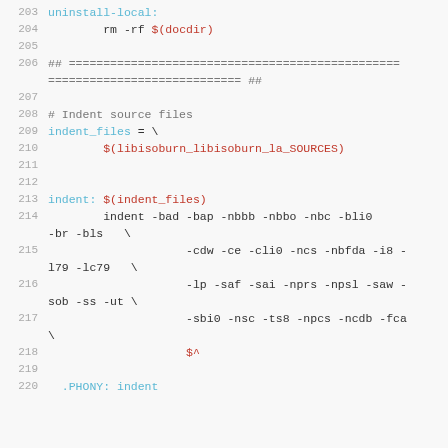[Figure (screenshot): Source code / Makefile snippet showing lines 203-220 with syntax highlighting. Lines include uninstall-local target, indent_files variable, indent target with various flags, and beginning of PHONY line.]